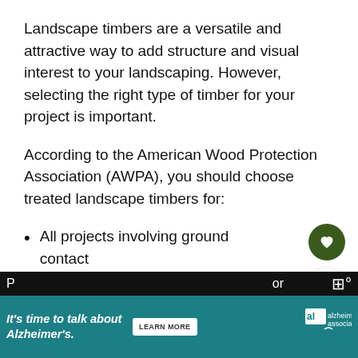Landscape timbers are a versatile and attractive way to add structure and visual interest to your landscaping. However, selecting the right type of timber for your project is important.
According to the American Wood Protection Association (AWPA), you should choose treated landscape timbers for:
All projects involving ground contact
Projects that are difficult to maintain freshwater dock & posts (source).
[Figure (other): Dark background bottom strip with partially visible text]
[Figure (infographic): Ad banner: It's time to talk about Alzheimer's. LEARN MORE. alzheimer's association logo.]